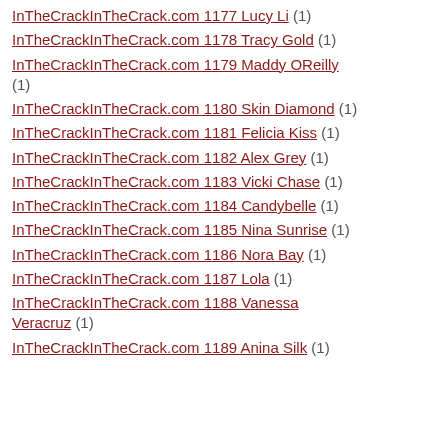InTheCrackInTheCrack.com 1177 Lucy Li (1)
InTheCrackInTheCrack.com 1178 Tracy Gold (1)
InTheCrackInTheCrack.com 1179 Maddy OReilly (1)
InTheCrackInTheCrack.com 1180 Skin Diamond (1)
InTheCrackInTheCrack.com 1181 Felicia Kiss (1)
InTheCrackInTheCrack.com 1182 Alex Grey (1)
InTheCrackInTheCrack.com 1183 Vicki Chase (1)
InTheCrackInTheCrack.com 1184 Candybelle (1)
InTheCrackInTheCrack.com 1185 Nina Sunrise (1)
InTheCrackInTheCrack.com 1186 Nora Bay (1)
InTheCrackInTheCrack.com 1187 Lola (1)
InTheCrackInTheCrack.com 1188 Vanessa Veracruz (1)
InTheCrackInTheCrack.com 1189 Anina Silk (1)